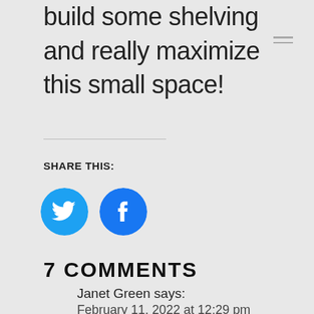build some shelving and really maximize this small space!
SHARE THIS:
[Figure (illustration): Twitter bird icon in cyan circle and Facebook 'f' icon in blue circle, social share buttons]
7 COMMENTS
Janet Green says:
February 11, 2022 at 12:29 pm